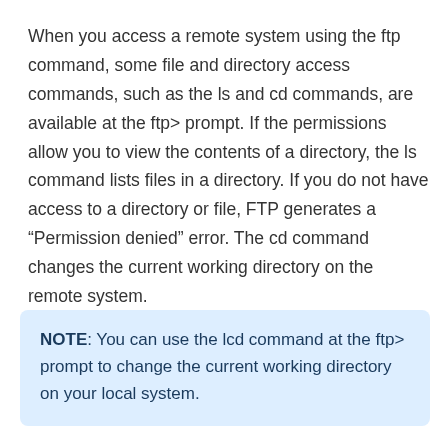When you access a remote system using the ftp command, some file and directory access commands, such as the ls and cd commands, are available at the ftp> prompt. If the permissions allow you to view the contents of a directory, the ls command lists files in a directory. If you do not have access to a directory or file, FTP generates a “Permission denied” error. The cd command changes the current working directory on the remote system.
NOTE: You can use the lcd command at the ftp> prompt to change the current working directory on your local system.